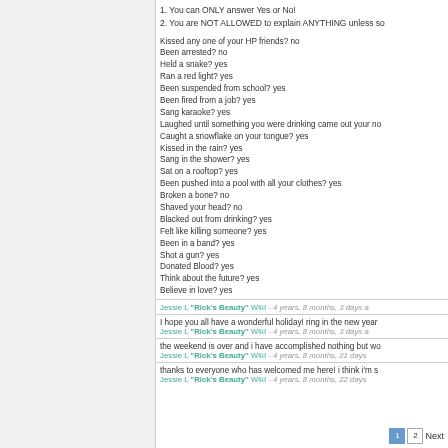1. You can ONLY answer Yes or No!
2. You are NOT ALLOWED to explain ANYTHING unless so
Kissed any one of your HP friends? no
Been arrested? no
Held a snake? yes
Ran a red light? yes
Been suspended from school? yes
Been fired from a job? yes
Sang karaoke? yes
Laughed until something you were drinking came out your no
Caught a snowflake on your tongue? yes
Kissed in the rain? yes
Sang in the shower? yes
Sat on a rooftop? yes
Been pushed into a pool with all your clothes? yes
Broken a bone? no
Shaved your head? no
Blacked out from drinking? yes
Felt like killing someone? yes
Been in a band? yes
Shot a gun? yes
Donated Blood? yes
Think about the future? yes
Believe in love? yes
Jessie L "Rick's Beauty" Wild - 4 years, 8 months, 3 days a
I hope you all have a wonderful holiday! ring in the new year
Jessie L "Rick's Beauty" Wild - 4 years, 8 months, 3 days a
the weekend is over and i have accomplished nothing but wo
Jessie L "Rick's Beauty" Wild - 4 years, 8 months, 21 days
thanks to everyone who has welcomed me here! i think i'm s
Jessie L "Rick's Beauty" Wild - 4 years, 8 months, 22 days
1 2 Next